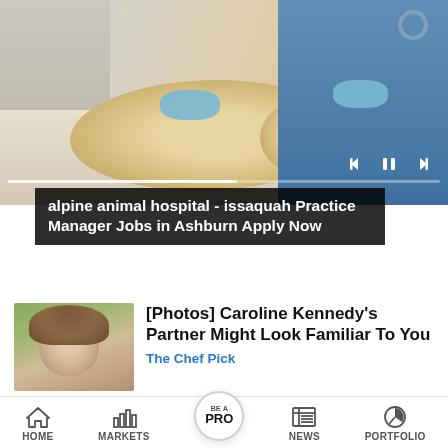[Figure (photo): Veterinarian in blue scrubs and gloves examining a golden retriever dog on a table, with a person in gray clothing also present. Media player controls (previous, pause, next) and a progress bar are visible.]
alpine animal hospital - issaquah Practice Manager Jobs in Ashburn Apply Now
[Figure (photo): Thumbnail portrait of a woman with shoulder-length brown hair, smiling, outdoors with soft green background.]
[Photos] Caroline Kennedy's Partner Might Look Familiar To You
The Chef Pick
[Figure (screenshot): Small square blue icon with white text, associated with a news ticker item.]
Noise peaked at 101.2 decibels during twin
[Figure (screenshot): Small square gray icon associated with a news ticker item.]
Anand Sharma raises questions on electoral about CWC
HOME  MARKETS  BE A PRO  NEWS  PORTFOLIO